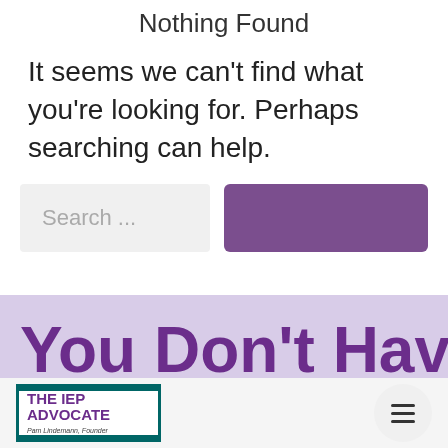Nothing Found
It seems we can't find what you're looking for. Perhaps searching can help.
[Figure (screenshot): Search bar with placeholder text 'Search ...' and a purple button to the right]
You Don't Have To
[Figure (logo): The IEP Advocate logo with teal border and purple text, 'Pam Lindemann, Founder' below]
[Figure (other): Hamburger menu button (three horizontal lines) in a circular white/light grey button]